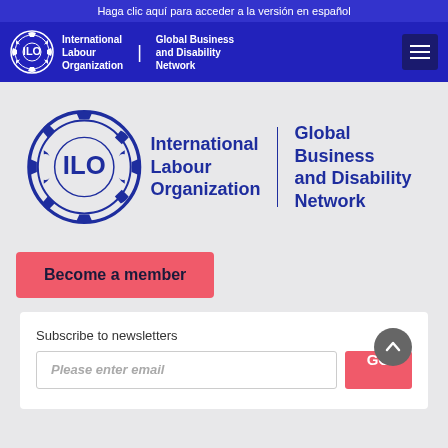Haga clic aquí para acceder a la versión en español
[Figure (logo): ILO (International Labour Organization) circular emblem logo in white on blue background, navigation bar version]
International Labour Organization | Global Business and Disability Network
[Figure (logo): ILO (International Labour Organization) large circular emblem logo in blue, main content version]
International Labour Organization | Global Business and Disability Network
Become a member
Subscribe to newsletters
Please enter email
GO